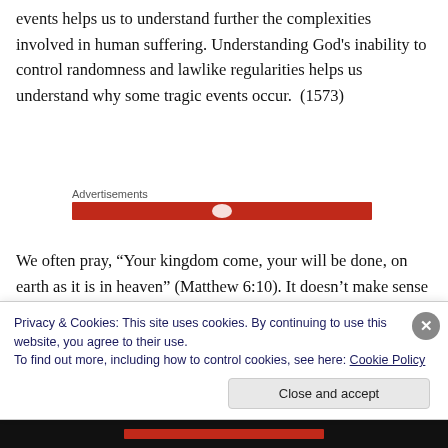events helps us to understand further the complexities involved in human suffering. Understanding God's inability to control randomness and lawlike regularities helps us understand why some tragic events occur.  (1573)
Advertisements
We often pray, “Your kingdom come, your will be done, on earth as it is in heaven” (Matthew 6:10). It doesn’t make sense to pray for God’s kingdom to come and his will to be
Privacy & Cookies: This site uses cookies. By continuing to use this website, you agree to their use.
To find out more, including how to control cookies, see here: Cookie Policy
Close and accept